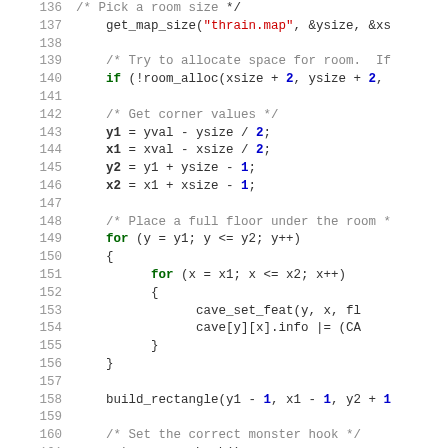[Figure (screenshot): Source code listing in C, lines 136-166, showing functions for room allocation, corner value calculation, floor placement, rectangle building, monster hook setup, and allocation table preparation in a roguelike game engine.]